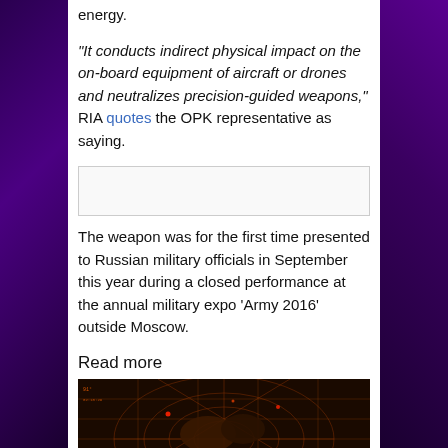energy.
“It conducts indirect physical impact on the on-board equipment of aircraft or drones and neutralizes precision-guided weapons,” RIA quotes the OPK representative as saying.
[Figure (other): Advertisement banner placeholder]
The weapon was for the first time presented to Russian military officials in September this year during a closed performance at the annual military expo ‘Army 2016’ outside Moscow.
Read more
[Figure (photo): Radar screen display with hands, orange and red grid overlay on dark background]